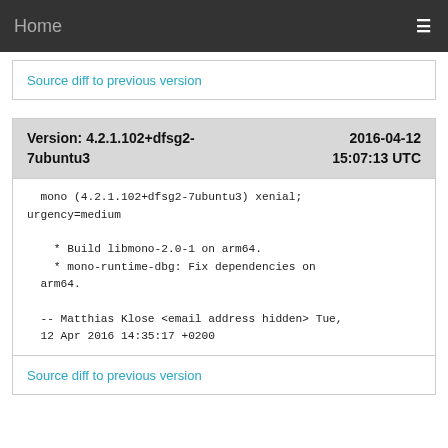Home
Source diff to previous version
Version: 4.2.1.102+dfsg2-7ubuntu3  2016-04-12 15:07:13 UTC
mono (4.2.1.102+dfsg2-7ubuntu3) xenial; urgency=medium

    * Build libmono-2.0-1 on arm64.
    * mono-runtime-dbg: Fix dependencies on arm64.

  -- Matthias Klose <email address hidden> Tue, 12 Apr 2016 14:35:17 +0200
Source diff to previous version